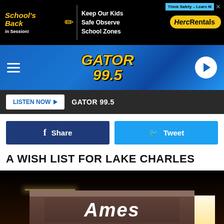[Figure (screenshot): Top advertisement banner: School's Back in Session / Keep Our Kids Safe Observe School Zones / Think Safety / HercRentals]
[Figure (screenshot): Gator 99.5 radio station navigation bar with hamburger menu, Gator 99.5 logo, and play button]
[Figure (screenshot): Listen Now button and GATOR 99.5 station name on dark bar]
[Figure (screenshot): Facebook Share and Twitter Tweet social sharing buttons]
A WISH LIST FOR LAKE CHARLES
[Figure (photo): Exterior photo of Ames store sign at night, illuminated white letters on dark building facade]
[Figure (screenshot): Bottom advertisement: Buick All Star Buick GMC Proud Sponsor of St. Jude RADIOTHON]